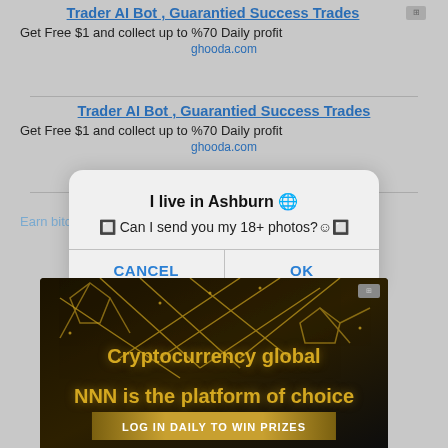Trader AI Bot , Guarantied Success Trades
Get Free $1 and collect up to %70 Daily profit
ghooda.com
Trader AI Bot , Guarantied Success Trades
Get Free $1 and collect up to %70 Daily profit
ghooda.com
I live in Ashburn 🌐
🔲 Can I send you my 18+ photos?☺🔲
CANCEL    OK
Ads that respect your privacy
Earn bitcoin...
eel.com
[Figure (screenshot): Dark themed cryptocurrency advertisement banner reading 'Cryptocurrency global NNN is the platform of choice' with gold decorative lines and 'LOG IN DAILY TO WIN PRIZES' banner at bottom]